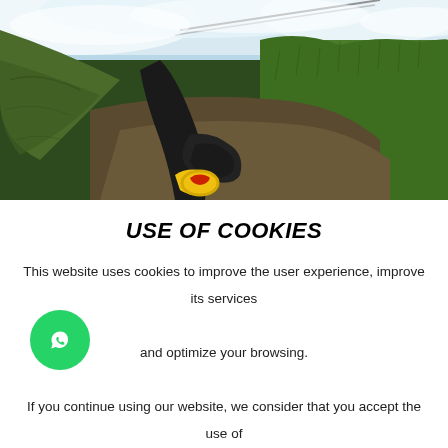[Figure (photo): Outdoor photo showing a person in black wetsuit with yellow gear/carabiner holding a fishing rod near a mossy rocky stream with rushing white water and lush green grass]
USE OF COOKIES
This website uses cookies to improve the user experience, improve its services and optimize your browsing.

If you continue using our website, we consider that you accept the use of cookies. You can change its settings and get more information here.
[Figure (logo): WhatsApp icon button - green circle with white phone/chat icon]
ACCEPT